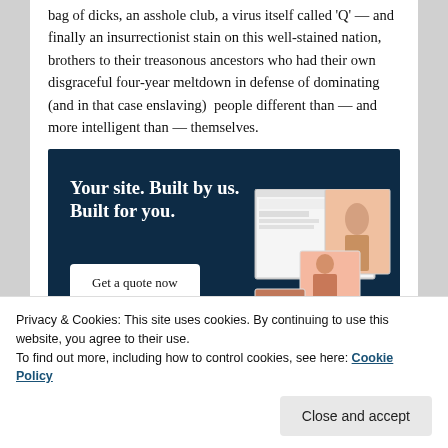bag of dicks, an asshole club, a virus itself called 'Q' — and finally an insurrectionist stain on this well-stained nation, brothers to their treasonous ancestors who had their own disgraceful four-year meltdown in defense of dominating (and in that case enslaving) people different than — and more intelligent than — themselves.
[Figure (illustration): Advertisement banner with dark navy background. Text reads: 'Your site. Built by us. Built for you.' with a 'Get a quote now' button and mockup images of a website with fashion photos.]
Privacy & Cookies: This site uses cookies. By continuing to use this website, you agree to their use.
To find out more, including how to control cookies, see here: Cookie Policy
Close and accept
Advertisements